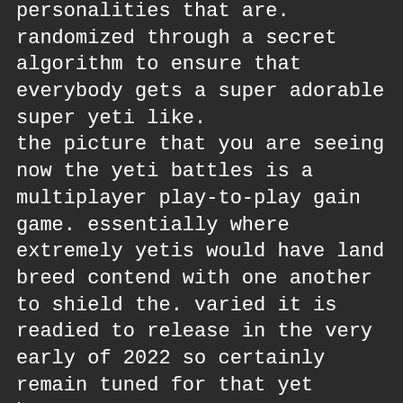personalities that are. randomized through a secret algorithm to ensure that everybody gets a super adorable super yeti like. the picture that you are seeing now the yeti battles is a multiplayer play-to-play gain game. essentially where extremely yetis would have land breed contend with one another to shield the. varied it is readied to release in the very early of 2022 so certainly remain tuned for that yet however. given that this project it looks really extremely interesting it deserved discussing in this video it is the. world" s first 10 000 3d nft that will certainly be introduced on the blockchain when you possess this nft you obtain. access to 4k documents 3d data 3d printing data as well as a whole lot extra you can likewise